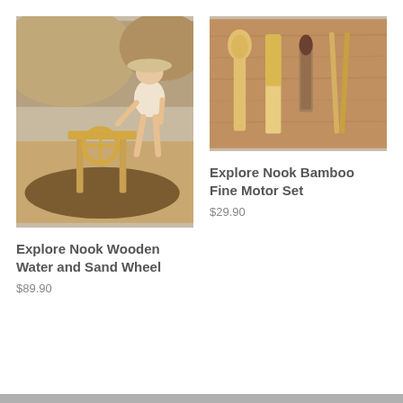[Figure (photo): A young child wearing a wide-brim hat and white dress, playing at a sandy beach with a wooden water and sand wheel toy next to rocks.]
Explore Nook Wooden Water and Sand Wheel
$89.90
[Figure (photo): Bamboo fine motor tools laid flat on a wooden surface: a scoop, a spatula, a small brush in a tube, and tweezers/chopsticks.]
Explore Nook Bamboo Fine Motor Set
$29.90